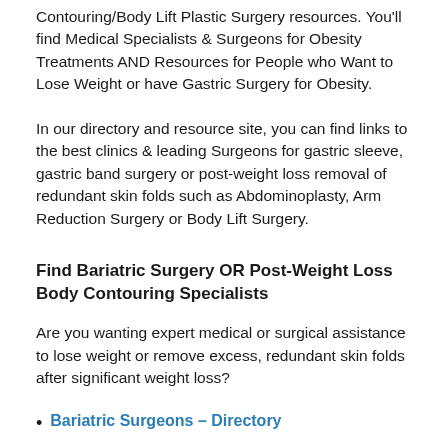Contouring/Body Lift Plastic Surgery resources. You'll find Medical Specialists & Surgeons for Obesity Treatments AND Resources for People who Want to Lose Weight or have Gastric Surgery for Obesity.
In our directory and resource site, you can find links to the best clinics & leading Surgeons for gastric sleeve, gastric band surgery or post-weight loss removal of redundant skin folds such as Abdominoplasty, Arm Reduction Surgery or Body Lift Surgery.
Find Bariatric Surgery OR Post-Weight Loss Body Contouring Specialists
Are you wanting expert medical or surgical assistance to lose weight or remove excess, redundant skin folds after significant weight loss?
Bariatric Surgeons – Directory
Plastic Surgeons – Directory: Body Contouring